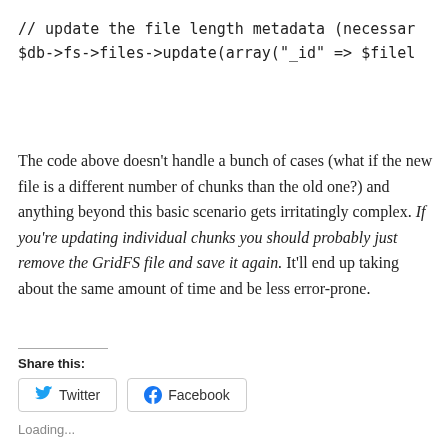// update the file length metadata (necessar
$db->fs->files->update(array("_id" => $filel
The code above doesn't handle a bunch of cases (what if the new file is a different number of chunks than the old one?) and anything beyond this basic scenario gets irritatingly complex. If you're updating individual chunks you should probably just remove the GridFS file and save it again. It'll end up taking about the same amount of time and be less error-prone.
Share this:
Twitter
Facebook
Loading...